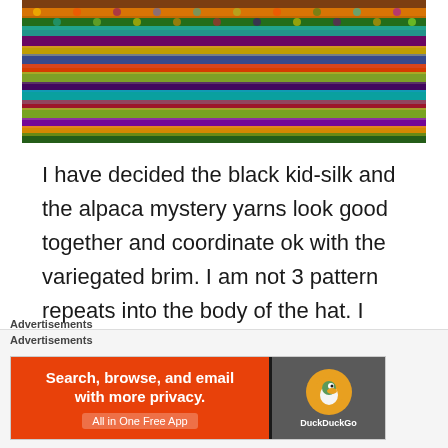[Figure (photo): Close-up photograph of colorful variegated knitting showing multicolored yarn in shades of orange, purple, teal, green, yellow, and black in a textured knit pattern]
I have decided the black kid-silk and the alpaca mystery yarns look good together and coordinate ok with the variegated brim. I am not 3 pattern repeats into the body of the hat. I intend to work 6 pattern repeats before I start the gathered crown. I will reevaluate to see if I want a longer, more absurd hat. Because winter is
Advertisements
[Figure (screenshot): DuckDuckGo advertisement banner: 'Search, browse, and email with more privacy. All in One Free App' on orange background with DuckDuckGo duck logo on dark background]